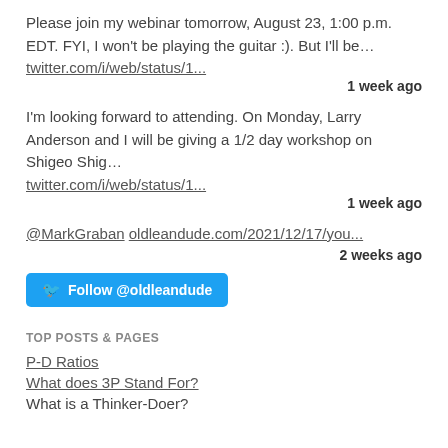Please join my webinar tomorrow, August 23, 1:00 p.m. EDT. FYI, I won't be playing the guitar :). But I'll be…
twitter.com/i/web/status/1...
1 week ago
I'm looking forward to attending. On Monday, Larry Anderson and I will be giving a 1/2 day workshop on Shigeo Shig… twitter.com/i/web/status/1...
1 week ago
@MarkGraban oldleandude.com/2021/12/17/you...
2 weeks ago
Follow @oldleandude
TOP POSTS & PAGES
P-D Ratios
What does 3P Stand For?
What is a Thinker-Doer?